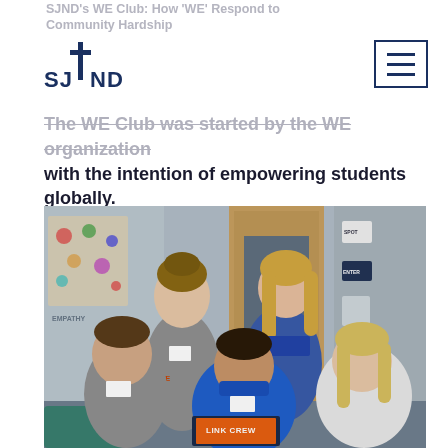SJND's WE Club: How 'WE' Respond to Community Hardship
[Figure (logo): SJND cross and text logo in dark blue]
The WE Club was started by the WE organization with the intention of empowering students globally.
[Figure (photo): Five students posing together in a classroom/hallway setting. Two students stand in the back row (one in a grey hoodie, one in a blue sweater). Three students sit in the front row (one in grey hoodie on left, one in blue hoodie in center, one in white jacket on right). A 'Link Crew' book or folder is visible in the foreground.]